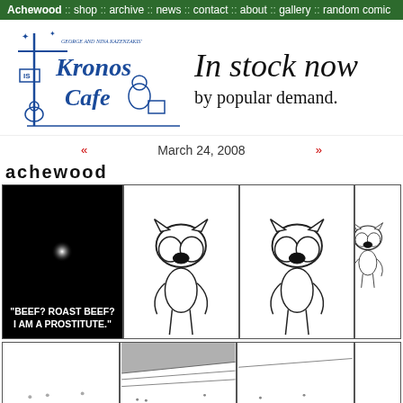Achewood :: shop :: archive :: news :: contact :: about :: gallery :: random comic
[Figure (illustration): Kronos Cafe logo by George and Nina Kazenzakis, with stylized hand-drawn blue text and figures]
In stock now by popular demand.
March 24, 2008
achewood
[Figure (illustration): Achewood webcomic strip: Panel 1 black background with glowing dot and caption 'BEEF? ROAST BEEF? I AM A PROSTITUTE.' Panels 2-4 show a cartoon cat character standing silently. Bottom row shows additional comic panels.]